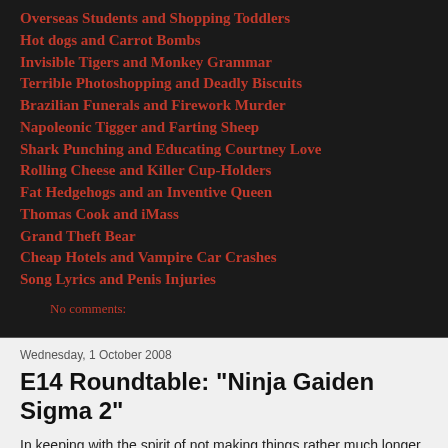Overseas Students and Shopping Toddlers
Hot dogs and Carrot Bombs
Invisible Tigers and Monkey Grammar
Terrible Photoshopping and Deadly Biscuits
Brazilian Funerals and Firework Murder
Napoleonic Tigger and Farting Sheep
Shark Punching and Educating Courtney Love
Rolling Cheese and Killer Cup-Holders
Fat Hedgehogs and an Inventive Queen
Thomas Cook and iMass
Grand Theft Bear
Cheap Hotels and Vampire Car Crashes
Song Lyrics and Penis Injuries
No comments:
Wednesday, 1 October 2008
E14 Roundtable: "Ninja Gaiden Sigma 2"
In keeping with the spirit of not making things rather much longer than they need to be on this site, it was decided that the E14